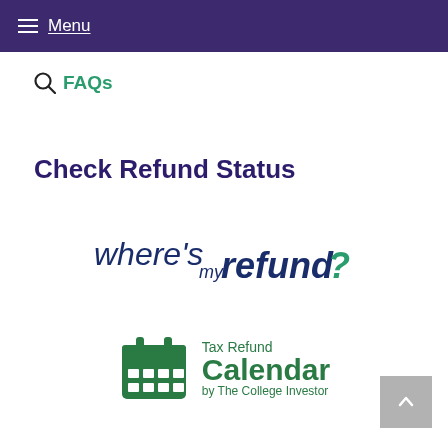Menu
FAQs
Check Refund Status
[Figure (logo): Where's My Refund? IRS logo with green question mark]
[Figure (logo): Tax Refund Calendar by The College Investor - green calendar icon with text]